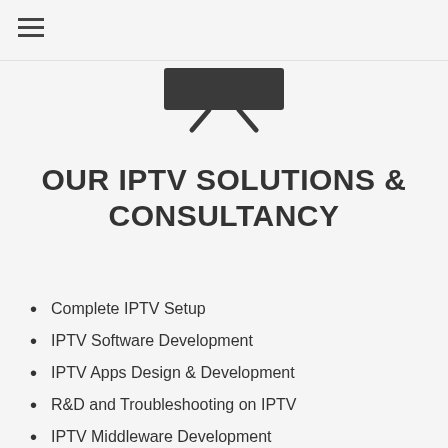≡
[Figure (illustration): Stylized TV/monitor icon with a flat screen and two angled legs forming a stand, rendered in dark gray]
OUR IPTV SOLUTIONS & CONSULTANCY
Complete IPTV Setup
IPTV Software Development
IPTV Apps Design & Development
R&D and Troubleshooting on IPTV
IPTV Middleware Development
OTT Solution & Consultancy
CDN & Server Solution
Live Streaming Solution
Digital Signage TV CMS Development